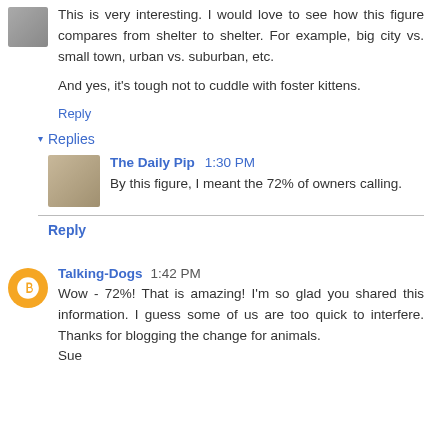[Figure (photo): Small avatar image of a person/animal, top left of first comment]
This is very interesting. I would love to see how this figure compares from shelter to shelter. For example, big city vs. small town, urban vs. suburban, etc.

And yes, it's tough not to cuddle with foster kittens.
Reply
▾ Replies
[Figure (photo): Avatar image of The Daily Pip (a curly-haired dog)]
The Daily Pip  1:30 PM
By this figure, I meant the 72% of owners calling.
Reply
[Figure (logo): Orange circle avatar with white Blogger 'B' icon for Talking-Dogs]
Talking-Dogs  1:42 PM
Wow - 72%! That is amazing! I'm so glad you shared this information. I guess some of us are too quick to interfere. Thanks for blogging the change for animals.
Sue